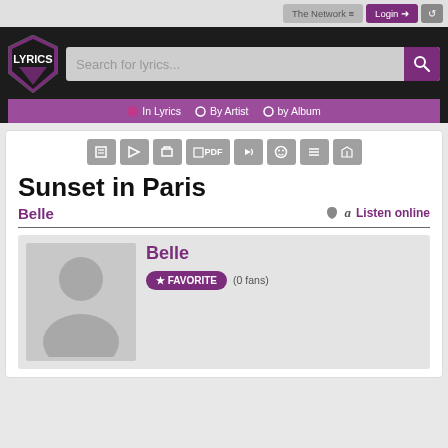The Network  Login
[Figure (screenshot): Lyrics website header with shield logo, search bar, and navigation tabs for In Lyrics, By Artist, by Album]
Sunset in Paris
Belle   Listen online
[Figure (photo): Artist profile silhouette placeholder image for Belle with FAVORITE button (0 fans)]